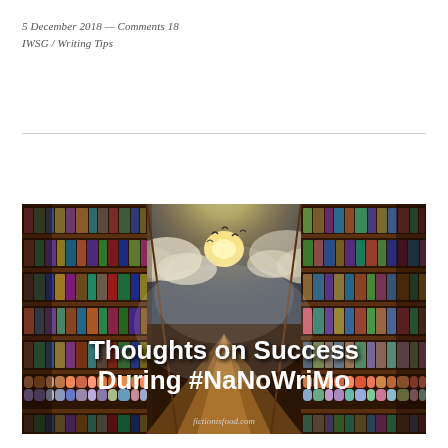5 December 2018 — Comments 18
IWSG / Writing Tips
[Figure (photo): Fantasy image of a library with bookshelves on both sides leading to a glowing sky with clouds, overlaid with the title text 'Thoughts on Success During #NaNoWriMo' and watermark 'fictionisfood.com']